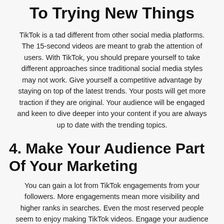To Trying New Things
TikTok is a tad different from other social media platforms. The 15-second videos are meant to grab the attention of users. With TikTok, you should prepare yourself to take different approaches since traditional social media styles may not work. Give yourself a competitive advantage by staying on top of the latest trends. Your posts will get more traction if they are original. Your audience will be engaged and keen to dive deeper into your content if you are always up to date with the trending topics.
4. Make Your Audience Part Of Your Marketing
You can gain a lot from TikTok engagements from your followers. More engagements mean more visibility and higher ranks in searches. Even the most reserved people seem to enjoy making TikTok videos. Engage your audience through